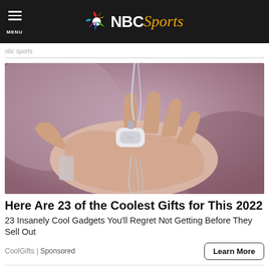NBC Sports
nbc sports
[Figure (photo): Close-up of a hand being washed under running water with a small white device attached to the wrist, likely a wearable gadget, with a muted pink/purple toned background]
Here Are 23 of the Coolest Gifts for This 2022
23 Insanely Cool Gadgets You'll Regret Not Getting Before They Sell Out
CoolGifts | Sponsored
Learn More